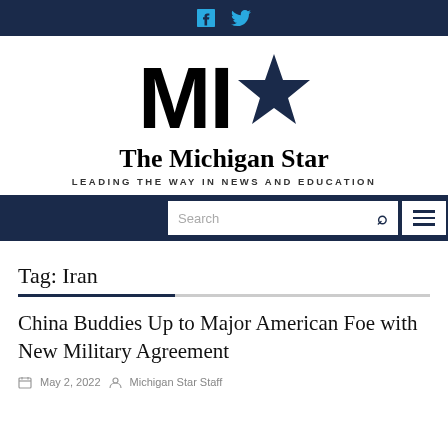f  (twitter bird icon)
[Figure (logo): The Michigan Star logo with large bold MI text and a dark navy star, tagline: LEADING THE WAY IN NEWS AND EDUCATION]
Search (navigation bar with search box and menu icon)
Tag: Iran
China Buddies Up to Major American Foe with New Military Agreement
May 2, 2022   Michigan Star Staff